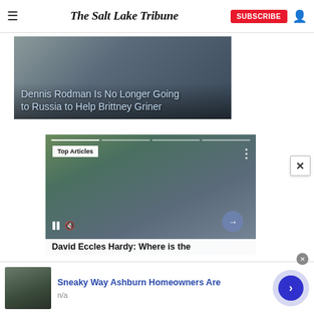The Salt Lake Tribune — SUBSCRIBE
[Figure (screenshot): News video thumbnail showing Dennis Rodman story with text overlay: 'Dennis Rodman Is No Longer Going to Russia to Help Brittney Griner']
[Figure (screenshot): Video player showing 'Top Articles' badge with outdoor scene (bell tower, trees, mountain background). Controls: pause, mute. Next arrow button. Title overlay: 'David Eccles Hardy: Where is the']
David Eccles Hardy: Where is the
[Figure (screenshot): Advertisement bar: image of roof construction worker, text 'Sneaky Way Ashburn Homeowners Are', source 'n/a', circular blue arrow button]